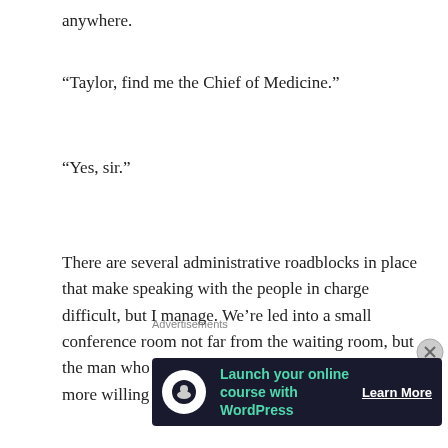anywhere.
“Taylor, find me the Chief of Medicine.”
“Yes, sir.”
There are several administrative roadblocks in place that make speaking with the people in charge difficult, but I manage. We’re led into a small conference room not far from the waiting room, but the man who comes and sits across from me isn’t any more willing to work with us than the nine
Advertisements
[Figure (other): Advertisement banner: Launch your online course with WordPress - Learn More]